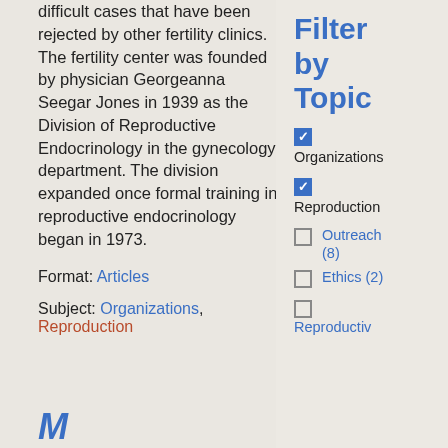difficult cases that have been rejected by other fertility clinics. The fertility center was founded by physician Georgeanna Seegar Jones in 1939 as the Division of Reproductive Endocrinology in the gynecology department. The division expanded once formal training in reproductive endocrinology began in 1973.
Format: Articles
Subject: Organizations, Reproduction
Filter by Topic
Organizations (checked)
Reproduction (checked)
Outreach (8) (unchecked)
Ethics (2) (unchecked)
Reproductiv... (unchecked)